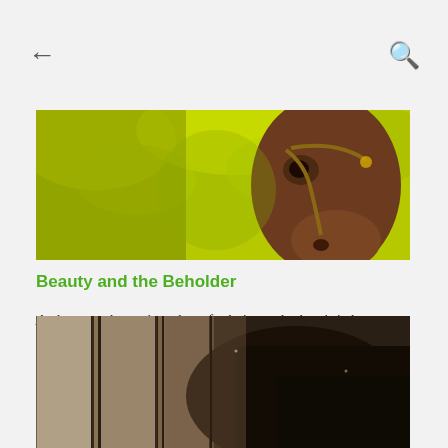← (back) … (search)
[Figure (photo): Close-up photo of a horse's head with brown coat and bridle against a bright yellow-green leafy background]
Beauty and the Beholder
As long as the main value of a being, whether it is human or animal, is on color, size, shape or overall visual flair, we are walking in the wrong direction. It is hard for me to see any progress in this society toward kindness...when we put so mu ...
[Figure (photo): Sepia-toned photo showing a dark horse partially visible between wooden barn boards or fence posts]